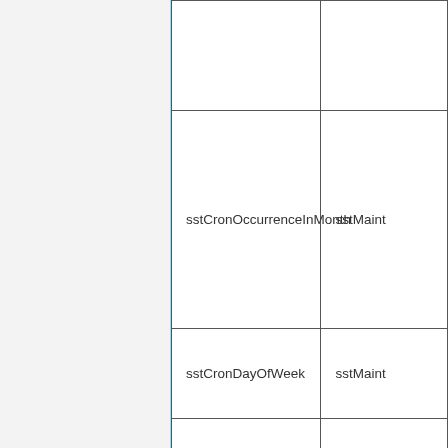| Field | Type |
| --- | --- |
|  |  |
| sstCronOccurrenceInMonth | sstMaint... |
| sstCronDayOfWeek | sstMaint... |
|  |  |